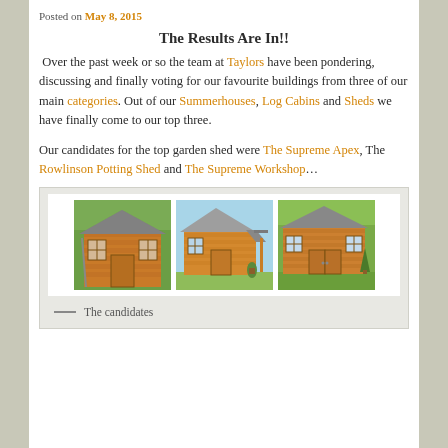Posted on May 8, 2015
The Results Are In!!
Over the past week or so the team at Taylors have been pondering, discussing and finally voting for our favourite buildings from three of our main categories. Out of our Summerhouses, Log Cabins and Sheds we have finally come to our top three.
Our candidates for the top garden shed were The Supreme Apex, The Rowlinson Potting Shed and The Supreme Workshop…
[Figure (photo): Three wooden garden sheds shown side by side: The Supreme Apex, Rowlinson Potting Shed, and The Supreme Workshop]
— The candidates